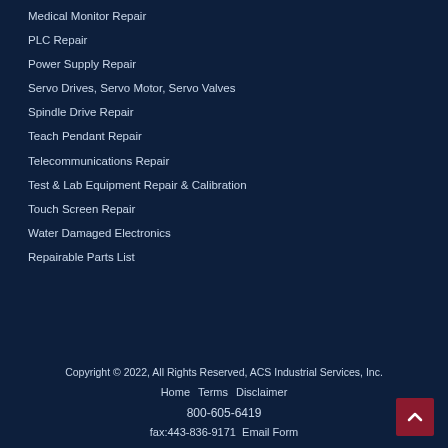Medical Monitor Repair
PLC Repair
Power Supply Repair
Servo Drives, Servo Motor, Servo Valves
Spindle Drive Repair
Teach Pendant Repair
Telecommunications Repair
Test & Lab Equipment Repair & Calibration
Touch Screen Repair
Water Damaged Electronics
Repairable Parts List
Copyright © 2022, All Rights Reserved, ACS Industrial Services, Inc.
Home  Terms  Disclaimer
800-605-6419
fax:443-836-9171  Email Form